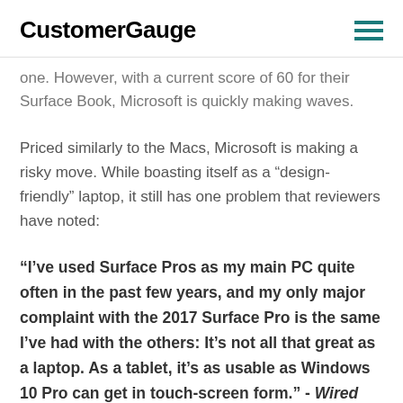CustomerGauge
one. However, with a current score of 60 for their Surface Book, Microsoft is quickly making waves.
Priced similarly to the Macs, Microsoft is making a risky move. While boasting itself as a “design-friendly” laptop, it still has one problem that reviewers have noted:
“I’ve used Surface Pros as my main PC quite often in the past few years, and my only major complaint with the 2017 Surface Pro is the same I’ve had with the others: It’s not all that great as a laptop. As a tablet, it’s as usable as Windows 10 Pro can get in touch-screen form.” - Wired